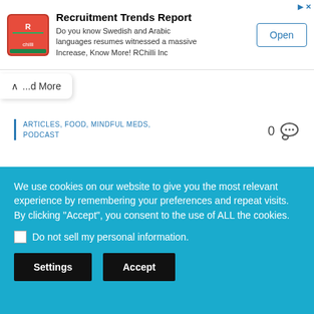[Figure (other): RChilli logo - red and green square logo with text RChilli]
Recruitment Trends Report
Do you know Swedish and Arabic languages resumes witnessed a massive Increase, Know More! RChilli Inc
Open
Read More
ARTICLES, FOOD, MINDFUL MEDS, PODCAST
0
How To Stay Healthy During A Food
We use cookies on our website to give you the most relevant experience by remembering your preferences and repeat visits. By clicking "Accept", you consent to the use of ALL the cookies.
☐ Do not sell my personal information.
Settings  Accept